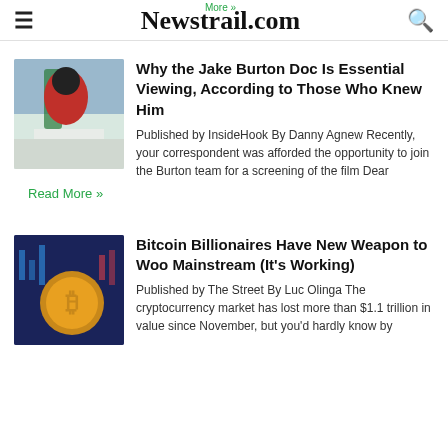Newstrail.com
Why the Jake Burton Doc Is Essential Viewing, According to Those Who Knew Him
Published by InsideHook By Danny Agnew Recently, your correspondent was afforded the opportunity to join the Burton team for a screening of the film Dear
Read More »
Bitcoin Billionaires Have New Weapon to Woo Mainstream (It's Working)
Published by The Street By Luc Olinga The cryptocurrency market has lost more than $1.1 trillion in value since November, but you'd hardly know by